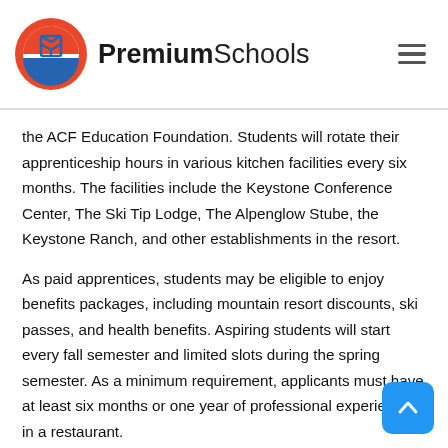PremiumSchools
the ACF Education Foundation. Students will rotate their apprenticeship hours in various kitchen facilities every six months. The facilities include the Keystone Conference Center, The Ski Tip Lodge, The Alpenglow Stube, the Keystone Ranch, and other establishments in the resort.
As paid apprentices, students may be eligible to enjoy benefits packages, including mountain resort discounts, ski passes, and health benefits. Aspiring students will start every fall semester and limited slots during the spring semester. As a minimum requirement, applicants must have at least six months or one year of professional experience in a restaurant.
The Culinary Internship Track program offers a shorter le... start a profession in the culinary industry. It features a year-round